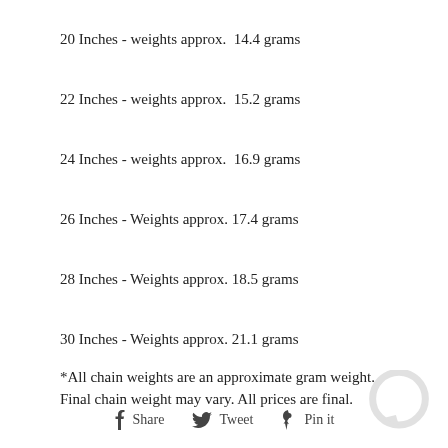20 Inches - weights approx.  14.4 grams
22 Inches - weights approx.  15.2 grams
24 Inches - weights approx.  16.9 grams
26 Inches - Weights approx. 17.4 grams
28 Inches - Weights approx. 18.5 grams
30 Inches - Weights approx. 21.1 grams
*All chain weights are an approximate gram weight. Final chain weight may vary. All prices are final.
Share   Tweet   Pin it